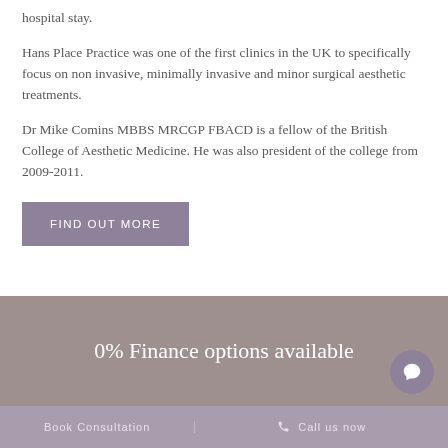hospital stay.
Hans Place Practice was one of the first clinics in the UK to specifically focus on non invasive, minimally invasive and minor surgical aesthetic treatments.
Dr Mike Comins MBBS MRCGP FBACD is a fellow of the British College of Aesthetic Medicine. He was also president of the college from 2009-2011.
Find Out More
0% Finance options available
Book Consultation
Call us now